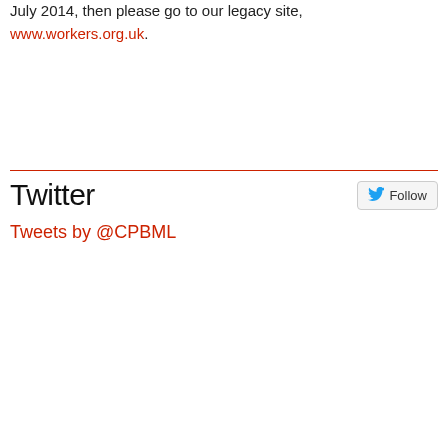July 2014, then please go to our legacy site, www.workers.org.uk.
Twitter
Tweets by @CPBML